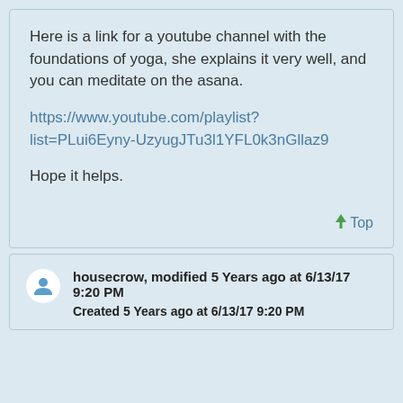Here is a link for a youtube channel with the foundations of yoga, she explains it very well, and you can meditate on the asana.

https://www.youtube.com/playlist?list=PLui6Eyny-UzyugJTu3l1YFL0k3nGllaz9

Hope it helps.
↑ Top
housecrow, modified 5 Years ago at 6/13/17 9:20 PM
Created 5 Years ago at 6/13/17 9:20 PM